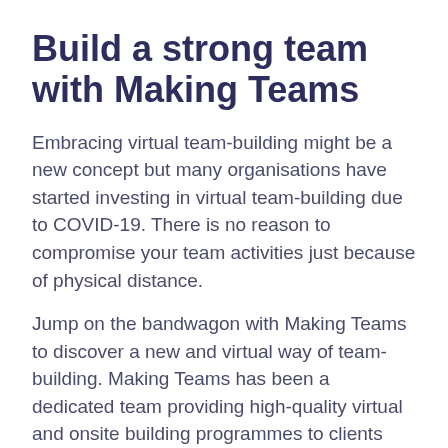Build a strong team with Making Teams
Embracing virtual team-building might be a new concept but many organisations have started investing in virtual team-building due to COVID-19. There is no reason to compromise your team activities just because of physical distance.
Jump on the bandwagon with Making Teams to discover a new and virtual way of team-building. Making Teams has been a dedicated team providing high-quality virtual and onsite building programmes to clients around the world since 2005. Reach out to us to learn more.